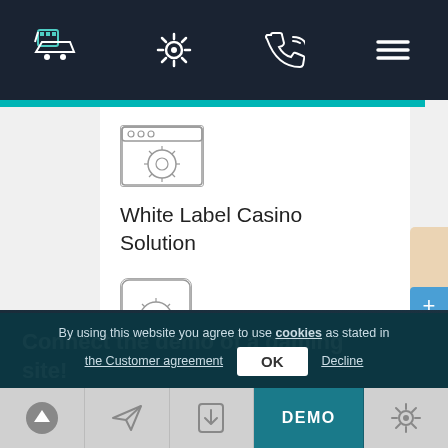[Figure (screenshot): Dark navy website header with shopping cart icon, settings gear icon, phone/support icon, and hamburger menu icon]
[Figure (illustration): Browser window icon with a gear/settings symbol inside, representing White Label Casino Solution product]
White Label Casino Solution
[Figure (illustration): Tablet device icon with a gear/settings symbol inside]
[Figure (screenshot): Dark overlay popup with text 'Connect the demo of a gaming site!' and a gaming character illustration]
By using this website you agree to use cookies as stated in the Customer agreement
[Figure (screenshot): Bottom navigation bar with up-arrow, send, download, DEMO (highlighted teal), and settings icons]